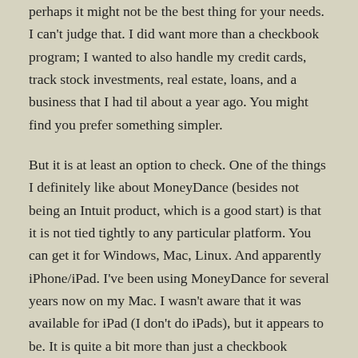perhaps it might not be the best thing for your needs. I can't judge that. I did want more than a checkbook program; I wanted to also handle my credit cards, track stock investments, real estate, loans, and a business that I had til about a year ago. You might find you prefer something simpler.
But it is at least an option to check. One of the things I definitely like about MoneyDance (besides not being an Intuit product, which is a good start) is that it is not tied tightly to any particular platform. You can get it for Windows, Mac, Linux. And apparently iPhone/iPad. I've been using MoneyDance for several years now on my Mac. I wasn't aware that it was available for iPad (I don't do iPads), but it appears to be. It is quite a bit more than just a checkbook program, so perhaps it might not be the best thing for your needs.
I can't judge that. I did want more than a checkbook program; I wanted to also handle my credit cards, track stock investments, real estate, loans, and a business that I had til about a year ago. You might find you prefer